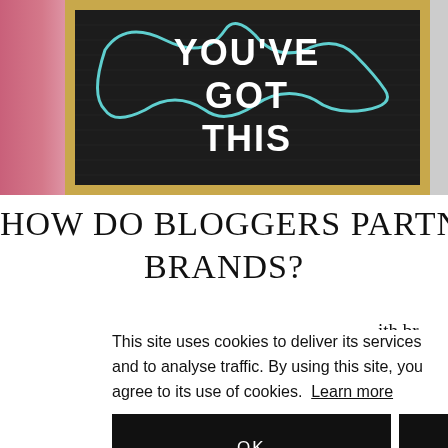[Figure (photo): A black letter board with the text YOU'VE GOT THIS in white bold letters, with a teal squiggly doodle outline, framed in wood, placed on a pink furry background.]
HOW DO BLOGGERS PARTNER WITH BRANDS?
This site uses cookies to deliver its services and to analyse traffic. By using this site, you agree to its use of cookies. Learn more
OK